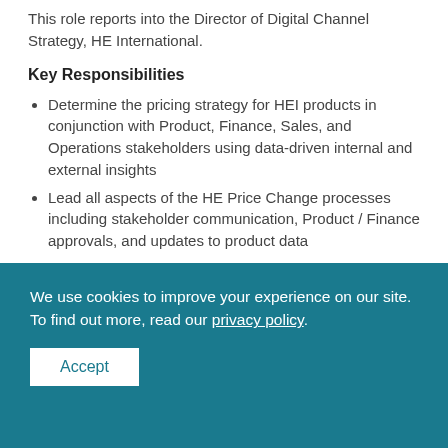This role reports into the Director of Digital Channel Strategy, HE International.
Key Responsibilities
Determine the pricing strategy for HEI products in conjunction with Product, Finance, Sales, and Operations stakeholders using data-driven internal and external insights
Lead all aspects of the HE Price Change processes including stakeholder communication, Product / Finance approvals, and updates to product data
Provide analytical, reporting, and presentation
We use cookies to improve your experience on our site. To find out more, read our privacy policy.
Accept